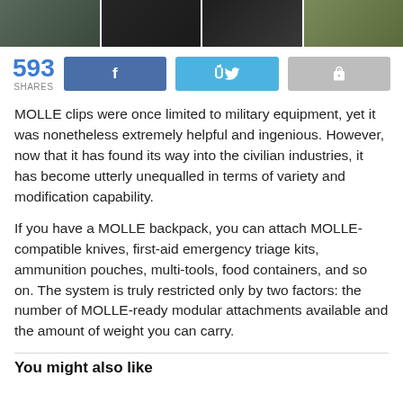[Figure (photo): Four photo strip images showing MOLLE clips and tactical equipment in black and olive green tones]
593 SHARES [Facebook share button] [Twitter share button] [Forward/share button]
MOLLE clips were once limited to military equipment, yet it was nonetheless extremely helpful and ingenious. However, now that it has found its way into the civilian industries, it has become utterly unequalled in terms of variety and modification capability.
If you have a MOLLE backpack, you can attach MOLLE-compatible knives, first-aid emergency triage kits, ammunition pouches, multi-tools, food containers, and so on. The system is truly restricted only by two factors: the number of MOLLE-ready modular attachments available and the amount of weight you can carry.
You might also like